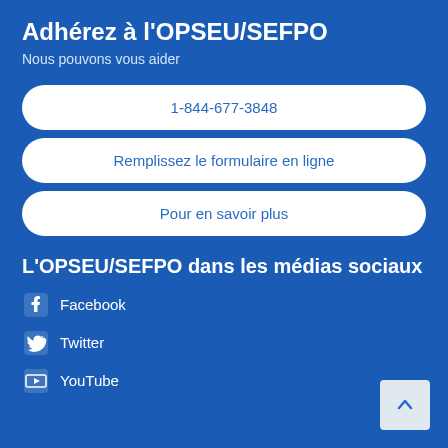Adhérez à l'OPSEU/SEFPO
Nous pouvons vous aider
1-844-677-3848
Remplissez le formulaire en ligne
Pour en savoir plus
L'OPSEU/SEFPO dans les médias sociaux
Facebook
Twitter
YouTube